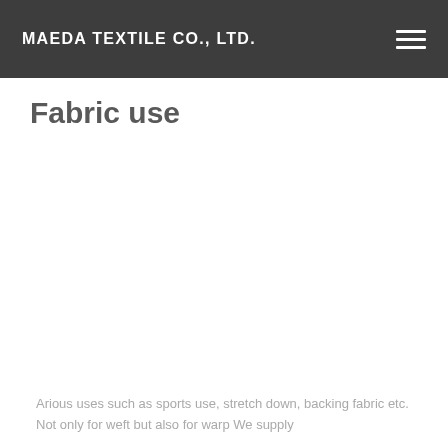MAEDA TEXTILE CO., LTD.
Fabric use
Arious uses such as sports use, stretch down, backing fabric etc. Not only for weft but also for warp We supply